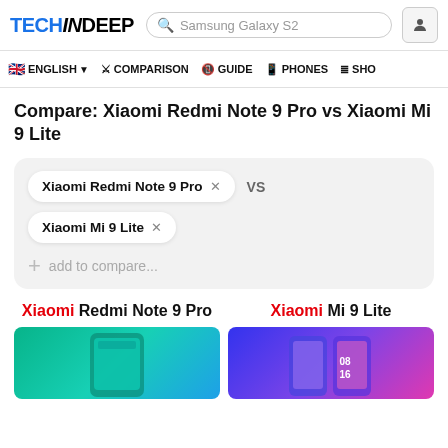TECHINDEEP — Samsung Galaxy S2 [search bar] [user icon]
ENGLISH | COMPARISON | GUIDE | PHONES | SHO
Compare: Xiaomi Redmi Note 9 Pro vs Xiaomi Mi 9 Lite
Xiaomi Redmi Note 9 Pro × VS
Xiaomi Mi 9 Lite ×
+ add to compare...
Xiaomi Redmi Note 9 Pro | Xiaomi Mi 9 Lite
[Figure (photo): Xiaomi Redmi Note 9 Pro phone photo (teal/green gradient)]
[Figure (photo): Xiaomi Mi 9 Lite phone photo (blue/purple/pink gradient, dual phone view)]